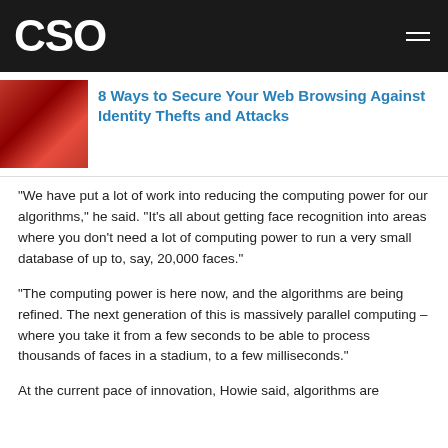CSO
8 Ways to Secure Your Web Browsing Against Identity Thefts and Attacks
“We have put a lot of work into reducing the computing power for our algorithms,” he said. “It’s all about getting face recognition into areas where you don’t need a lot of computing power to run a very small database of up to, say, 20,000 faces.”
“The computing power is here now, and the algorithms are being refined. The next generation of this is massively parallel computing – where you take it from a few seconds to be able to process thousands of faces in a stadium, to a few milliseconds.”
At the current pace of innovation, Howie said, algorithms are